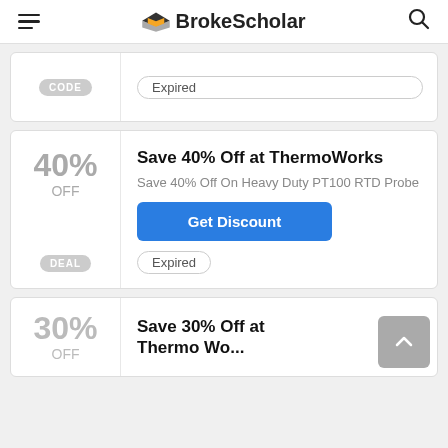BrokeScholar
CODE — Expired
40% OFF — Save 40% Off at ThermoWorks — Save 40% Off On Heavy Duty PT100 RTD Probe — Get Discount — DEAL — Expired
30% OFF — Save 30% Off at ThermoWo...